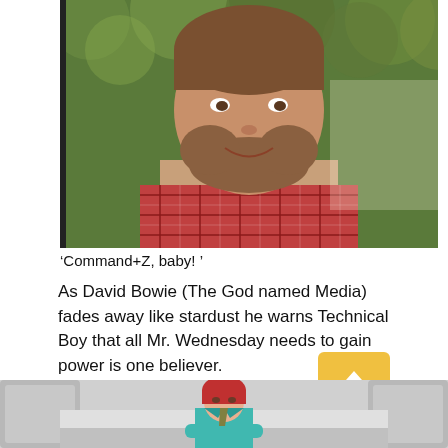[Figure (photo): Close-up photo of a smiling man with a beard wearing a plaid shirt, with green foliage in the background.]
‘Command+Z, baby! ’
As David Bowie (The God named Media) fades away like stardust he warns Technical Boy that all Mr. Wednesday needs to gain power is one believer.
[Figure (photo): Screenshot showing a figure with red hair and a teal jacket sitting in what appears to be a futuristic or cinematic interior setting. A yellow upload/arrow button icon is overlaid on the image.]